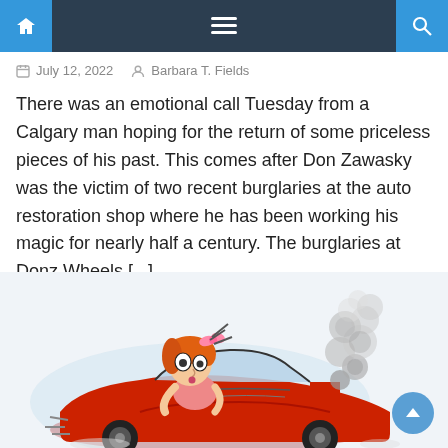Navigation bar with home, menu, and search icons
July 12, 2022   Barbara T. Fields
There was an emotional call Tuesday from a Calgary man hoping for the return of some priceless pieces of his past. This comes after Don Zawasky was the victim of two recent burglaries at the auto restoration shop where he has been working his magic for nearly half a century. The burglaries at Donz Wheels [...]
[Figure (illustration): Cartoon illustration of a woman with red/orange hair and a pink bow driving a red convertible car, looking alarmed at smoke coming from the engine. The car has motion lines indicating trouble.]